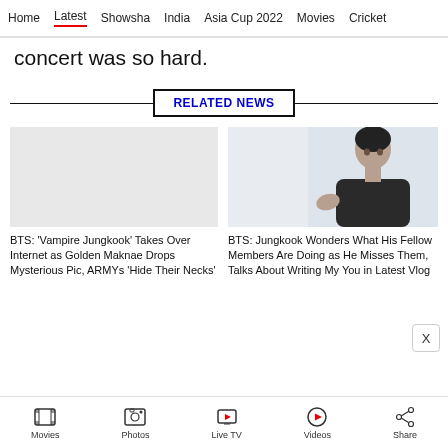Home | Latest | Showsha | India | Asia Cup 2022 | Movies | Cricket
concert was so hard.
RELATED NEWS
[Figure (photo): Placeholder grey image for first related news card (BTS Vampire Jungkook)]
BTS: 'Vampire Jungkook' Takes Over Internet as Golden Maknae Drops Mysterious Pic, ARMYs 'Hide Their Necks'
[Figure (photo): Photo of BTS Jungkook sitting, dark jacket, white background]
BTS: Jungkook Wonders What His Fellow Members Are Doing as He Misses Them, Talks About Writing My You in Latest Vlog
Movies | Photos | Live TV | Videos | Share